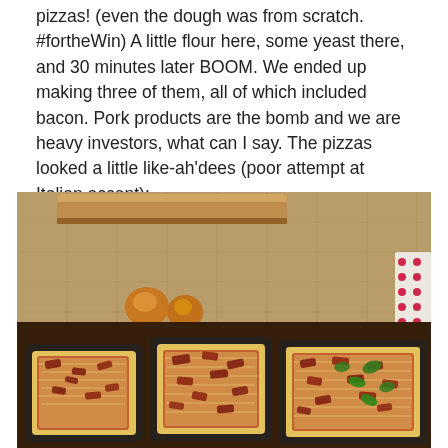pizzas! (even the dough was from scratch. #fortheWin) A little flour here, some yeast there, and 30 minutes later BOOM. We ended up making three of them, all of which included bacon. Pork products are the bomb and we are heavy investors, what can I say. The pizzas looked a little like-ah'dees (poor attempt at Italian accent):
[Figure (photo): Three homemade pizzas on dark rectangular baking pans on a kitchen counter, topped with sauce, cheese, and bacon. Some onions visible in the background near the counter. A polka dot cloth is on the right side.]